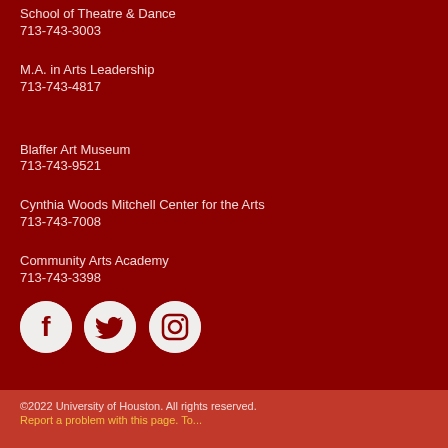School of Theatre & Dance
713-743-3003
M.A. in Arts Leadership
713-743-4817
Blaffer Art Museum
713-743-9521
Cynthia Woods Mitchell Center for the Arts
713-743-7008
Community Arts Academy
713-743-3398
[Figure (logo): Three social media icons: Facebook, Twitter, Instagram — white icons on cream/white circular backgrounds]
©2022 University of Houston. All rights reserved.